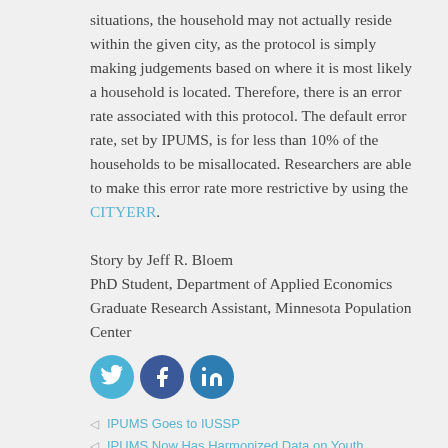situations, the household may not actually reside within the given city, as the protocol is simply making judgements based on where it is most likely a household is located. Therefore, there is an error rate associated with this protocol. The default error rate, set by IPUMS, is for less than 10% of the households to be misallocated. Researchers are able to make this error rate more restrictive by using the CITYERR.
Story by Jeff R. Bloem
PhD Student, Department of Applied Economics
Graduate Research Assistant, Minnesota Population Center
[Figure (other): Social media share icons: Twitter (light blue circle), Facebook (dark blue circle), LinkedIn (blue circle)]
IPUMS Goes to IUSSP
IPUMS Now Has Harmonized Data on Youth